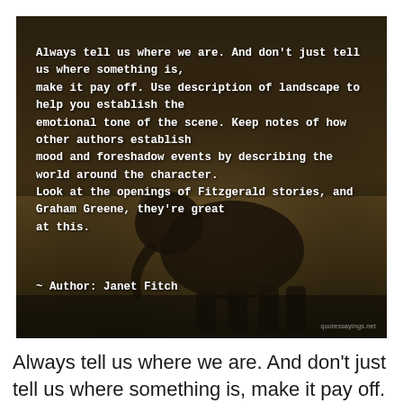[Figure (photo): A dark wildlife photograph showing an elephant or large animal in a savanna landscape, overlaid with a quote in white bold monospace text: 'Always tell us where we are. And don't just tell us where something is, make it pay off. Use description of landscape to help you establish the emotional tone of the scene. Keep notes of how other authors establish mood and foreshadow events by describing the world around the character. Look at the openings of Fitzgerald stories, and Graham Greene, they're great at this. ~ Author: Janet Fitch'. Watermark reads quotessayings.net.]
Always tell us where we are. And don't just tell us where something is, make it pay off. Use description of landscape to help you establish the emotional tone of the scene. Keep notes of how other authors establish mood and foreshadow events by describing